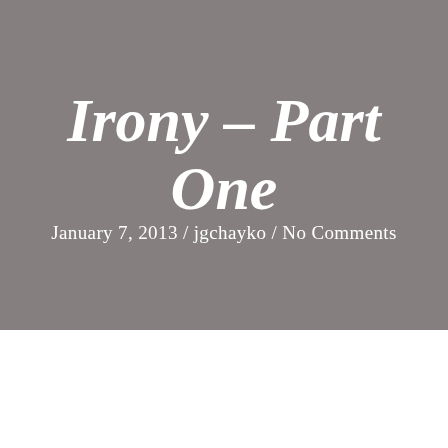Irony – Part One
January 7, 2013  /  jgchayko  /  No Comments